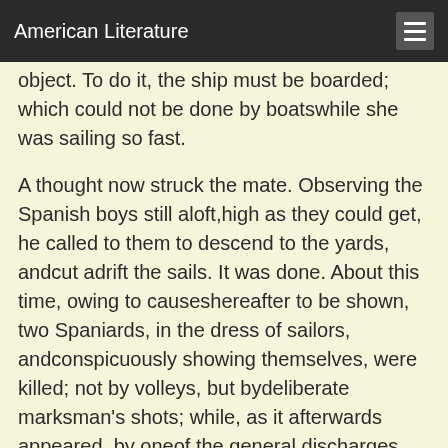American Literature
object. To do it, the ship must be boarded; which could not be done by boatswhile she was sailing so fast.

A thought now struck the mate. Observing the Spanish boys still aloft,high as they could get, he called to them to descend to the yards, andcut adrift the sails. It was done. About this time, owing to causeshereafter to be shown, two Spaniards, in the dress of sailors, andconspicuously showing themselves, were killed; not by volleys, but bydeliberate marksman's shots; while, as it afterwards appeared, by oneof the general discharges, Atufal, the black, and the Spaniard at